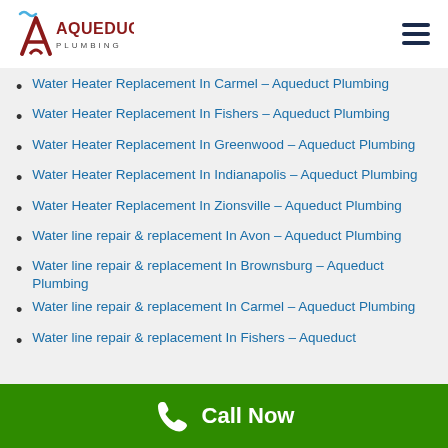Aqueduct Plumbing
Water Heater Replacement In Carmel – Aqueduct Plumbing
Water Heater Replacement In Fishers – Aqueduct Plumbing
Water Heater Replacement In Greenwood – Aqueduct Plumbing
Water Heater Replacement In Indianapolis – Aqueduct Plumbing
Water Heater Replacement In Zionsville – Aqueduct Plumbing
Water line repair & replacement In Avon – Aqueduct Plumbing
Water line repair & replacement In Brownsburg – Aqueduct Plumbing
Water line repair & replacement In Carmel – Aqueduct Plumbing
Water line repair & replacement In Fishers – Aqueduct
Call Now